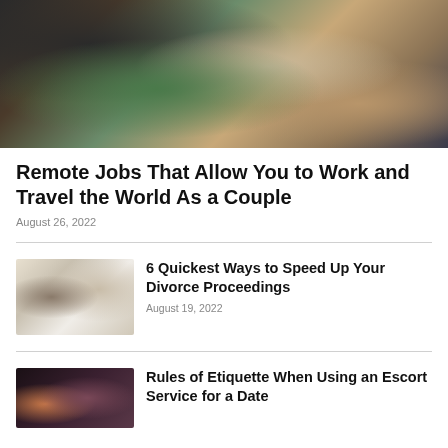[Figure (photo): Woman in floral dress working on laptop outdoors, coconut drink nearby, dark background]
Remote Jobs That Allow You to Work and Travel the World As a Couple
August 26, 2022
[Figure (photo): People signing legal documents at a table with a gavel]
6 Quickest Ways to Speed Up Your Divorce Proceedings
August 19, 2022
[Figure (photo): Man and woman facing each other in evening light]
Rules of Etiquette When Using an Escort Service for a Date